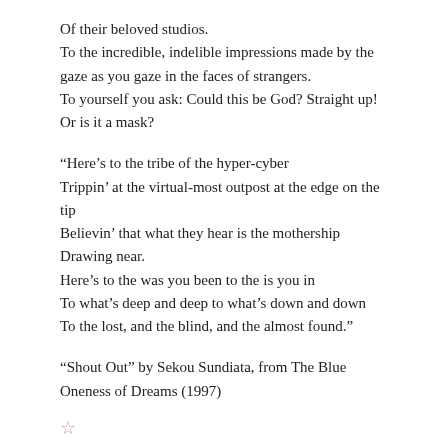Of their beloved studios.
To the incredible, indelible impressions made by the gaze as you gaze in the faces of strangers.
To yourself you ask: Could this be God? Straight up!
Or is it a mask?
“Here’s to the tribe of the hyper-cyber
Trippin’ at the virtual-most outpost at the edge on the tip
Believin’ that what they hear is the mothership Drawing near.
Here’s to the was you been to the is you in
To what’s deep and deep to what’s down and down
To the lost, and the blind, and the almost found.”
“Shout Out” by Sekou Sundiata, from The Blue Oneness of Dreams (1997)
☆